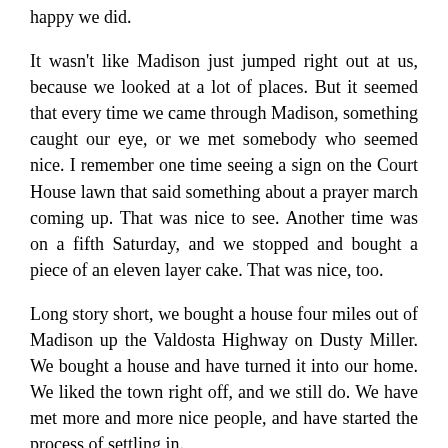happy we did.
It wasn't like Madison just jumped right out at us, because we looked at a lot of places. But it seemed that every time we came through Madison, something caught our eye, or we met somebody who seemed nice. I remember one time seeing a sign on the Court House lawn that said something about a prayer march coming up. That was nice to see. Another time was on a fifth Saturday, and we stopped and bought a piece of an eleven layer cake. That was nice, too.
Long story short, we bought a house four miles out of Madison up the Valdosta Highway on Dusty Miller. We bought a house and have turned it into our home. We liked the town right off, and we still do. We have met more and more nice people, and have started the process of settling in.
Now that we are here, I have to tell you, I still like the Madison that attracted us to